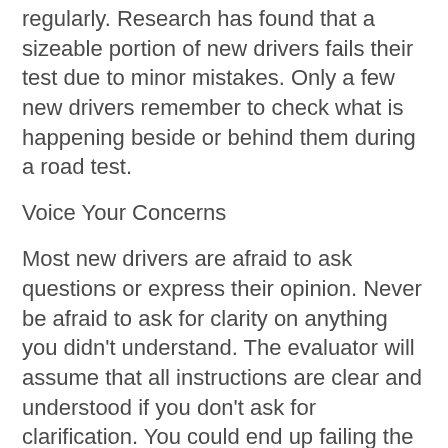regularly. Research has found that a sizeable portion of new drivers fails their test due to minor mistakes. Only a few new drivers remember to check what is happening beside or behind them during a road test.
Voice Your Concerns
Most new drivers are afraid to ask questions or express their opinion. Never be afraid to ask for clarity on anything you didn't understand. The evaluator will assume that all instructions are clear and understood if you don't ask for clarification. You could end up failing the test or losing marks if you aren't bold enough to ask for clarity on ambiguous guidelines. The internet can be a useful resource where you can get answers on any question you may have ahead of a test. The other option is seeking advice from friends or relatives who have already taken and passed the test. Friends who failed the test may help you know the mistakes to avoid while those who passed can share their success tips.
Actual road tests are more nerve-racking than driving permit tests. No matter how experienced a driver is,